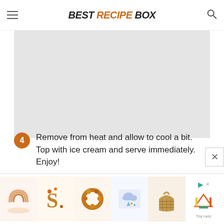BEST RECIPE BOX
minutes, and cook the other side for about another 2 minutes.
[Figure (photo): Large light gray image placeholder area]
4  Remove from heat and allow to cool a bit. Top with ice cream and serve immediately. Enjoy!
[Figure (infographic): Advertisement bar at the bottom with 5 product thumbnail images (rainbow plate, autumn letter S, fall wreath, rain cloud pillow, wicker basket) and a Tiny Land logo with play and close buttons]